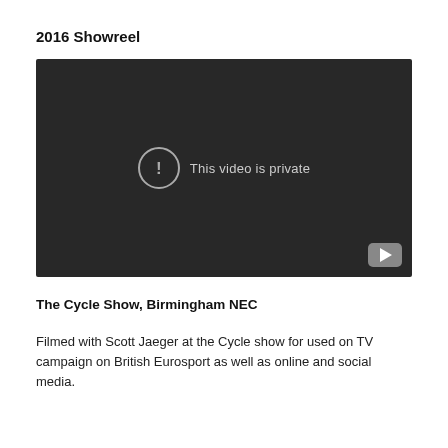2016 Showreel
[Figure (screenshot): Embedded video player showing 'This video is private' message on a dark background with a YouTube logo in the bottom right corner.]
The Cycle Show, Birmingham NEC
Filmed with Scott Jaeger at the Cycle show for used on TV campaign on British Eurosport as well as online and social media.